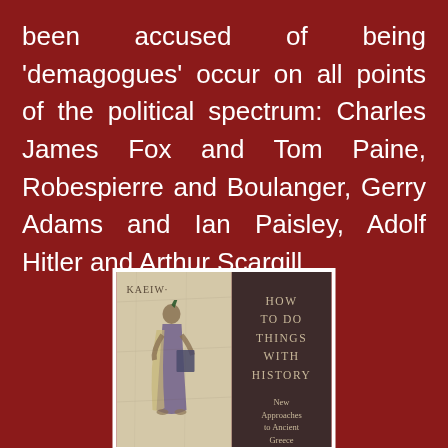been accused of being 'demagogues' occur on all points of the political spectrum: Charles James Fox and Tom Paine, Robespierre and Boulanger, Gerry Adams and Ian Paisley, Adolf Hitler and Arthur Scargill.
[Figure (photo): Book cover of 'How To Do Things With History: New Approaches to Ancient Greece', showing a Roman/Greek fresco figure on the left panel and dark background with title text on the right panel.]